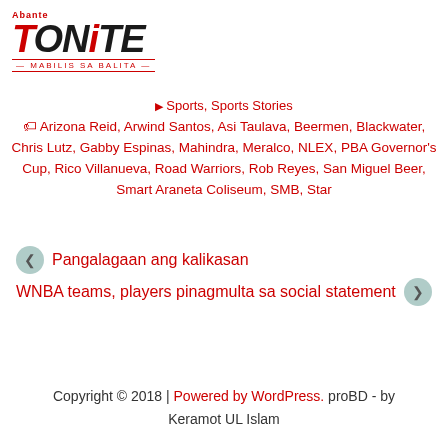[Figure (logo): Abante Tonite newspaper logo with red text and tagline 'Mabilis sa Balita']
Sports, Sports Stories
Arizona Reid, Arwind Santos, Asi Taulava, Beermen, Blackwater, Chris Lutz, Gabby Espinas, Mahindra, Meralco, NLEX, PBA Governor's Cup, Rico Villanueva, Road Warriors, Rob Reyes, San Miguel Beer, Smart Araneta Coliseum, SMB, Star
Pangalagaan ang kalikasan
WNBA teams, players pinagmulta sa social statement
Copyright © 2018 | Powered by WordPress. proBD - by Keramot UL Islam